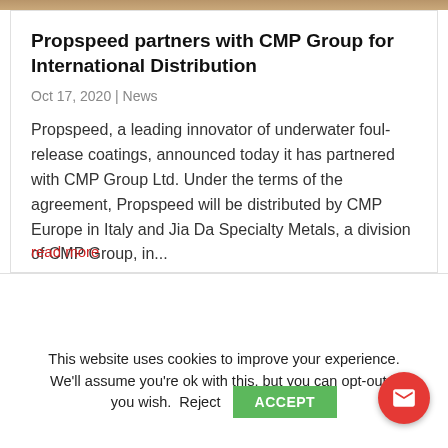[Figure (photo): Top image bar showing partial photo, likely a marine or product image]
Propspeed partners with CMP Group for International Distribution
Oct 17, 2020 | News
Propspeed, a leading innovator of underwater foul-release coatings, announced today it has partnered with CMP Group Ltd. Under the terms of the agreement, Propspeed will be distributed by CMP Europe in Italy and Jia Da Specialty Metals, a division of CMP Group, in...
read more
This website uses cookies to improve your experience. We'll assume you're ok with this, but you can opt-out if you wish.  Reject  ACCEPT